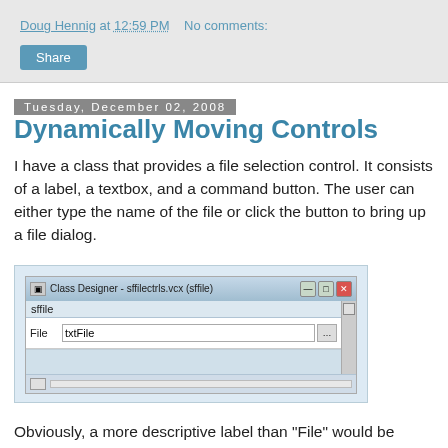Doug Hennig at 12:59 PM   No comments:
Share
Tuesday, December 02, 2008
Dynamically Moving Controls
I have a class that provides a file selection control. It consists of a label, a textbox, and a command button. The user can either type the name of the file or click the button to bring up a file dialog.
[Figure (screenshot): Class Designer window showing sffilectrls.vcx (sffile) with sffile label and a row containing File label, txtFile textbox, and a browse button]
Obviously, a more descriptive label than "File" would be useful, but it would be painful to manually change the caption and then adjust the textbox so the two don't overlap. To make this dynamic, the class has a cLblCaption property